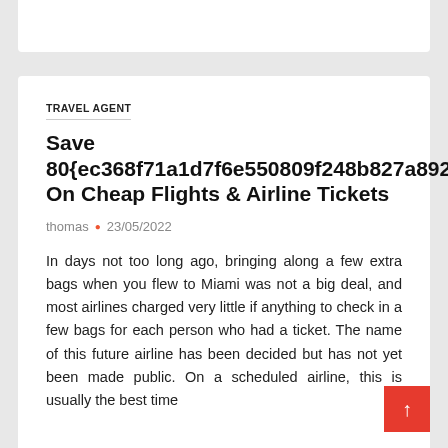TRAVEL AGENT
Save 80{ec368f71a1d7f6e550809f248b827a892feef3d52af01b30b03fed349049d4e5} On Cheap Flights & Airline Tickets
thomas • 23/05/2022
In days not too long ago, bringing along a few extra bags when you flew to Miami was not a big deal, and most airlines charged very little if anything to check in a few bags for each person who had a ticket. The name of this future airline has been decided but has not yet been made public. On a scheduled airline, this is usually the best time